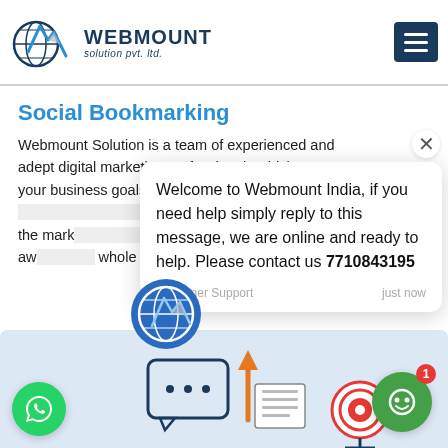[Figure (logo): Webmount Solution Pvt. Ltd. logo with globe and checkmark icon, company name in dark navy bold text]
Social Bookmarking
Webmount Solution is a team of experienced and adept digital marketing professionals which meets your business goals by [partially obscured] the mark[eting] Tagore [obscured] well-aw[are] whole n[etwork]
[Figure (screenshot): Chat popup overlay: Welcome to Webmount India, if you need help simply reply to this message, we are online and ready to help. Please contact us 7710843195 — Customer Support, just now]
[Figure (illustration): Bottom section showing social bookmarking illustration with chat bubble, upward arrow, target/bullseye icon, WhatsApp floating button, and chat bot button with badge showing 1]